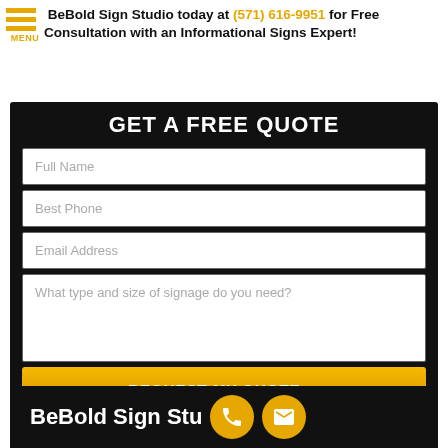BeBold Sign Studio today at (571) 616-9951 for Free Consultation with an Informational Signs Expert!
[Figure (infographic): Black background form section with title GET A FREE QUOTE, input fields for Full Name, Best Phone, Email Address, What type and size of signage do you need?, and a gold REQUEST MY QUOTE button]
BeBold Sign Stu